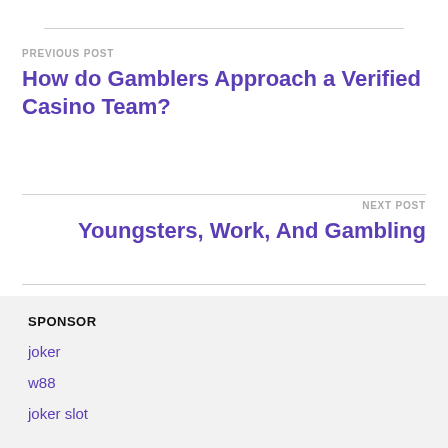PREVIOUS POST
How do Gamblers Approach a Verified Casino Team?
NEXT POST
Youngsters, Work, And Gambling
SPONSOR
joker
w88
joker slot